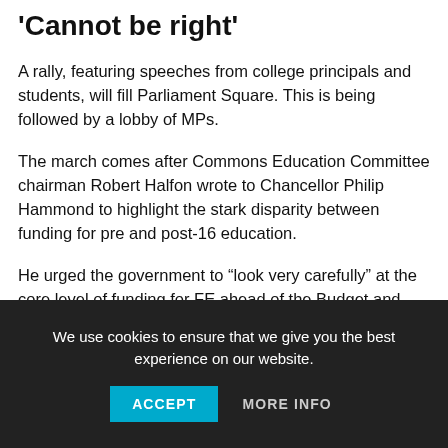'Cannot be right'
A rally, featuring speeches from college principals and students, will fill Parliament Square. This is being followed by a lobby of MPs.
The march comes after Commons Education Committee chairman Robert Halfon wrote to Chancellor Philip Hammond to highlight the stark disparity between funding for pre and post-16 education.
He urged the government to “look very carefully” at the core level of funding for FE ahead of the Budget and Spending
We use cookies to ensure that we give you the best experience on our website.